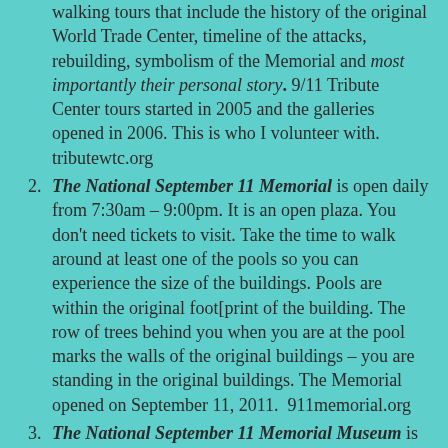walking tours that include the history of the original World Trade Center, timeline of the attacks, rebuilding, symbolism of the Memorial and most importantly their personal story. 9/11 Tribute Center tours started in 2005 and the galleries opened in 2006. This is who I volunteer with. tributewtc.org
The National September 11 Memorial is open daily from 7:30am – 9:00pm. It is an open plaza. You don't need tickets to visit. Take the time to walk around at least one of the pools so you can experience the size of the buildings. Pools are within the original footprint of the building. The row of trees behind you when you are at the pool marks the walls of the original buildings – you are standing in the original buildings. The Memorial opened on September 11, 2011. 911memorial.org
The National September 11 Memorial Museum is open Sunday – Thursdays from 9:00am –